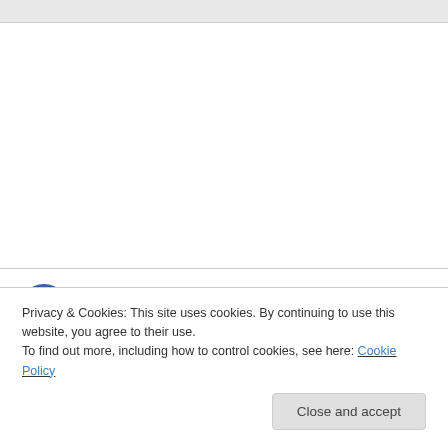EF Kelley on October 19, 2010 at 2:37 pm
A rebel might be more dedicated to a specific code. Dirty Harry is a rebel, but he’s NOT a free spirit.
I suppose free spirits tend to be more positive
Privacy & Cookies: This site uses cookies. By continuing to use this website, you agree to their use.
To find out more, including how to control cookies, see here: Cookie Policy
Close and accept